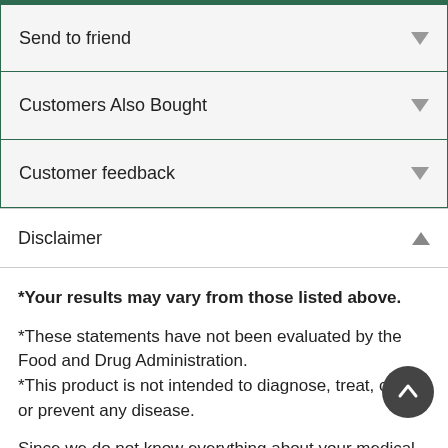Send to friend
Customers Also Bought
Customer feedback
Disclaimer
*Your results may vary from those listed above.

*These statements have not been evaluated by the Food and Drug Administration.
*This product is not intended to diagnose, treat, cure or prevent any disease.

Since we do not know everything about your medical history and medications, please consult with your health care practitioner before implementing any new protocols and supplements. Do not construe any information listed on this site as a substitute for actual...